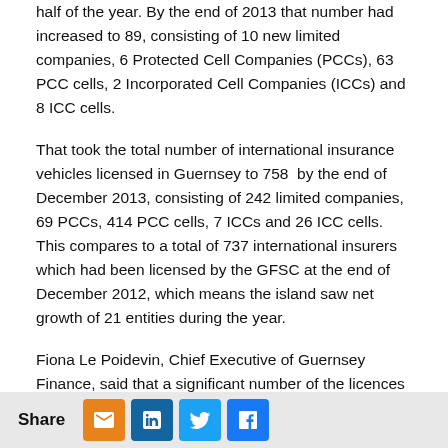half of the year. By the end of 2013 that number had increased to 89, consisting of 10 new limited companies, 6 Protected Cell Companies (PCCs), 63 PCC cells, 2 Incorporated Cell Companies (ICCs) and 8 ICC cells.
That took the total number of international insurance vehicles licensed in Guernsey to 758 by the end of December 2013, consisting of 242 limited companies, 69 PCCs, 414 PCC cells, 7 ICCs and 26 ICC cells. This compares to a total of 737 international insurers which had been licensed by the GFSC at the end of December 2012, which means the island saw net growth of 21 entities during the year.
Fiona Le Poidevin, Chief Executive of Guernsey Finance, said that a significant number of the licences issued in the last year were associated with a variety of structures related to insurance-linked securities (ILS).
She commented; “It is pleasing to see that Guernsey remains a popular international insurance centre. These figures build on last year’s very strong performance, and together mean that
Share